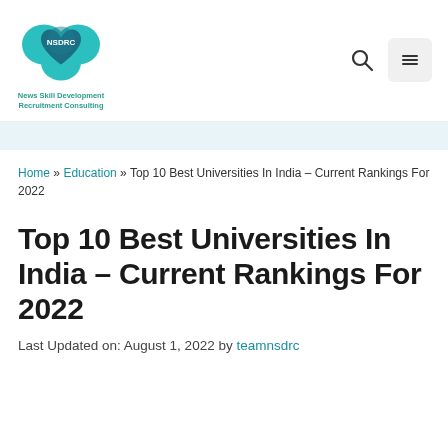[Figure (logo): NSDRC logo with teal cloud/heart shape and text 'News Skill Development Recruitment Consulting']
Home » Education » Top 10 Best Universities In India – Current Rankings For 2022
Top 10 Best Universities In India – Current Rankings For 2022
Last Updated on: August 1, 2022 by teamnsdrc